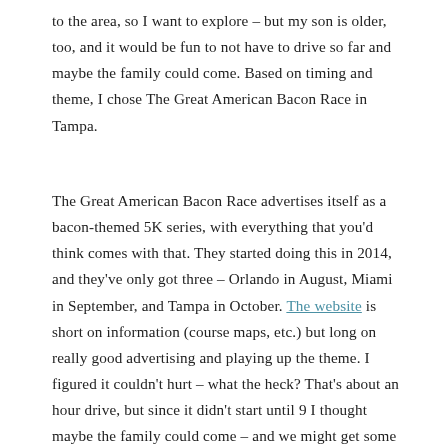to the area, so I want to explore – but my son is older, too, and it would be fun to not have to drive so far and maybe the family could come.  Based on timing and theme, I chose The Great American Bacon Race in Tampa.
The Great American Bacon Race advertises itself as a bacon-themed 5K series, with everything that you'd think comes with that.  They started doing this in 2014, and they've only got three – Orlando in August, Miami in September, and Tampa in October.  The website is short on information (course maps, etc.) but long on really good advertising and playing up the theme.  I figured it couldn't hurt – what the heck?  That's about an hour drive, but since it didn't start until 9 I thought maybe the family could come – and we might get some bacon, besides.  So I signed up.